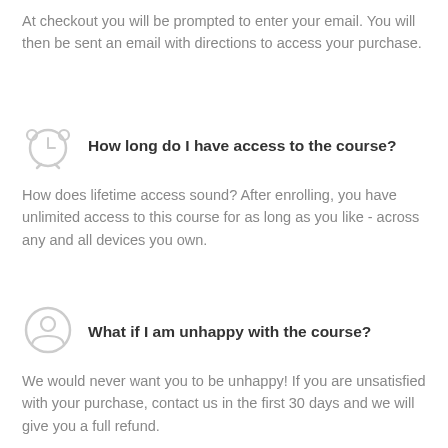At checkout you will be prompted to enter your email. You will then be sent an email with directions to access your purchase.
How long do I have access to the course?
How does lifetime access sound? After enrolling, you have unlimited access to this course for as long as you like - across any and all devices you own.
What if I am unhappy with the course?
We would never want you to be unhappy! If you are unsatisfied with your purchase, contact us in the first 30 days and we will give you a full refund.